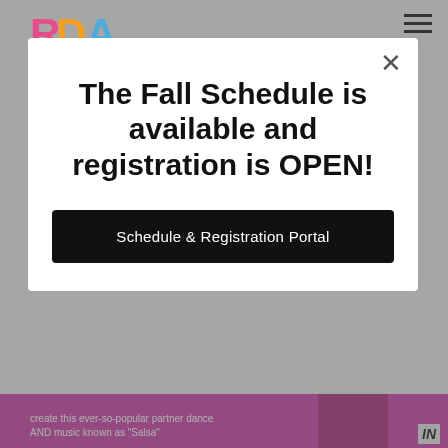[Figure (screenshot): Background website page with RDA logo top-left, hamburger menu top-right, and partial pink/purple content strip at the bottom showing dance-related text and images]
The Fall Schedule is available and registration is OPEN!
Schedule & Registration Portal